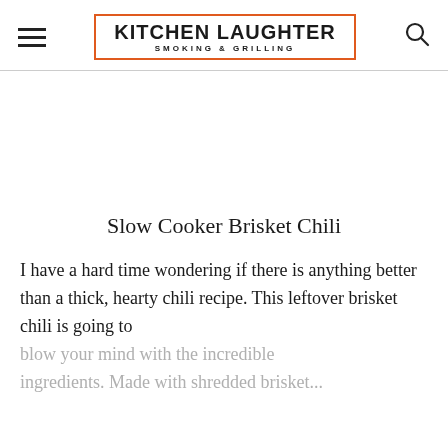KITCHEN LAUGHTER — SMOKING & GRILLING
Slow Cooker Brisket Chili
I have a hard time wondering if there is anything better than a thick, hearty chili recipe. This leftover brisket chili is going to blow your mind with the incredible ingredients. Made with shredded brisket...